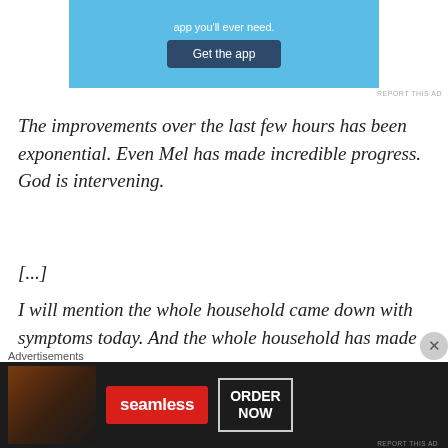[Figure (screenshot): Blue advertisement banner with 'app you'll ever need.' text and 'Get the app' button]
REPORT THIS AD
The improvements over the last few hours has been exponential. Even Mel has made incredible progress. God is intervening.
[...]
I will mention the whole household came down with symptoms today. And the whole household has made
Advertisements
[Figure (screenshot): Seamless food delivery advertisement with pizza image, Seamless logo, and ORDER NOW button]